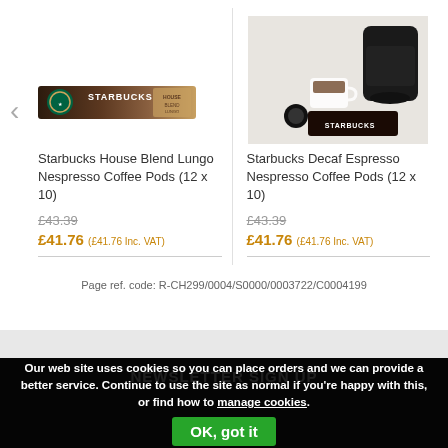[Figure (photo): Starbucks House Blend Lungo Nespresso Coffee Pods product box - brown elongated packaging with Starbucks logo]
[Figure (photo): Starbucks Decaf Espresso Nespresso Coffee Pods - photo showing espresso machine, coffee cup, pods and Starbucks branded box]
Starbucks House Blend Lungo Nespresso Coffee Pods (12 x 10)
£43.39
£41.76 (£41.76 Inc. VAT)
Starbucks Decaf Espresso Nespresso Coffee Pods (12 x 10)
£43.39
£41.76 (£41.76 Inc. VAT)
Page ref. code: R-CH299/0004/S0000/0003722/C0004199
NEWSLETTER SIGN UP
Our web site uses cookies so you can place orders and we can provide a better service. Continue to use the site as normal if you're happy with this, or find how to manage cookies.
OK, got it